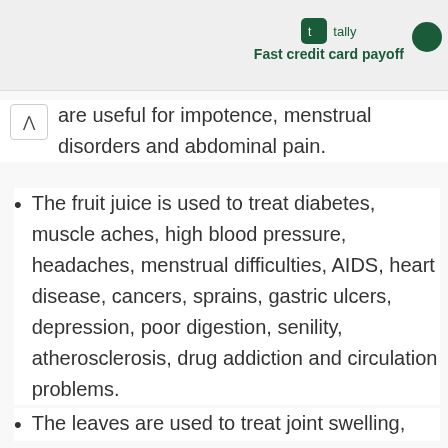[Figure (screenshot): Tally app advertisement banner with green logo icon and text 'Fast credit card payoff']
are useful for impotence, menstrual disorders and abdominal pain.
The fruit juice is used to treat diabetes, muscle aches, high blood pressure, headaches, menstrual difficulties, AIDS, heart disease, cancers, sprains, gastric ulcers, depression, poor digestion, senility, atherosclerosis, drug addiction and circulation problems.
The leaves are used to treat joint swelling,